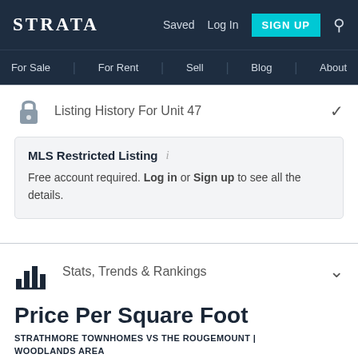STRATA | Saved | Log In | SIGN UP
For Sale | For Rent | Sell | Blog | About
Listing History For Unit 47
MLS Restricted Listing
Free account required. Log in or Sign up to see all the details.
Stats, Trends & Rankings
Price Per Square Foot
STRATHMORE TOWNHOMES VS THE ROUGEMOUNT | WOODLANDS AREA
Sale  Rent